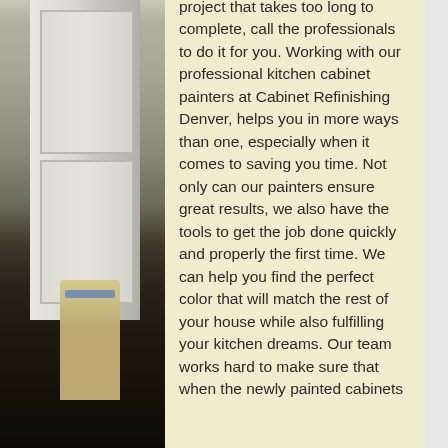[Figure (photo): Photo of a kitchen with white painted cabinets, wood flooring, and a decorative towel hanging, viewed from a corner angle.]
project that takes too long to complete, call the professionals to do it for you. Working with our professional kitchen cabinet painters at Cabinet Refinishing Denver, helps you in more ways than one, especially when it comes to saving you time. Not only can our painters ensure great results, we also have the tools to get the job done quickly and properly the first time. We can help you find the perfect color that will match the rest of your house while also fulfilling your kitchen dreams. Our team works hard to make sure that when the newly painted cabinets